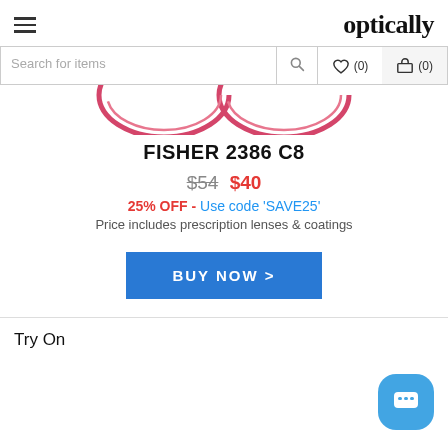optically
Search for items
[Figure (illustration): Partial view of red/pink rimmed eyeglasses frames at the top of the page]
FISHER 2386 C8
$54 $40
25% OFF - Use code 'SAVE25'
Price includes prescription lenses & coatings
BUY NOW >
Try On